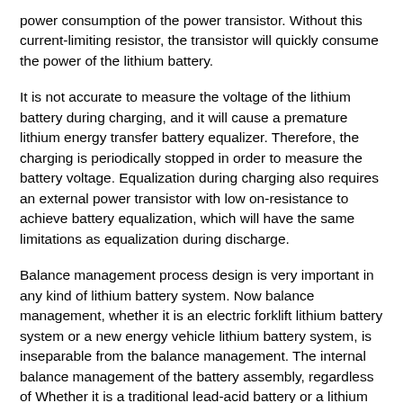power consumption of the power transistor. Without this current-limiting resistor, the transistor will quickly consume the power of the lithium battery.
It is not accurate to measure the voltage of the lithium battery during charging, and it will cause a premature lithium energy transfer battery equalizer. Therefore, the charging is periodically stopped in order to measure the battery voltage. Equalization during charging also requires an external power transistor with low on-resistance to achieve battery equalization, which will have the same limitations as equalization during discharge.
Balance management process design is very important in any kind of lithium battery system. Now balance management, whether it is an electric forklift lithium battery system or a new energy vehicle lithium battery system, is inseparable from the balance management. The internal balance management of the battery assembly, regardless of Whether it is a traditional lead-acid battery or a lithium battery that is very popular nowadays, the performance is not the performance of a single cell, but more depends on the balance management performance of the overall lithium battery pack. As one of the key technologies of lithium battery power